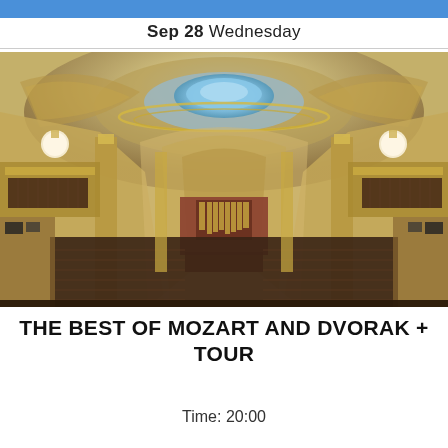Sep 28 Wednesday
[Figure (photo): Interior panoramic view of a grand ornate concert hall with gilded baroque architecture, painted ceiling murals, a dome with skylight, multiple balcony levels with dark wooden seating rows, columns, arched ceilings, and a stage with organ pipes at the far end. White globe pendant lights hang on either side.]
THE BEST OF MOZART AND DVORAK + TOUR
Time: 20:00